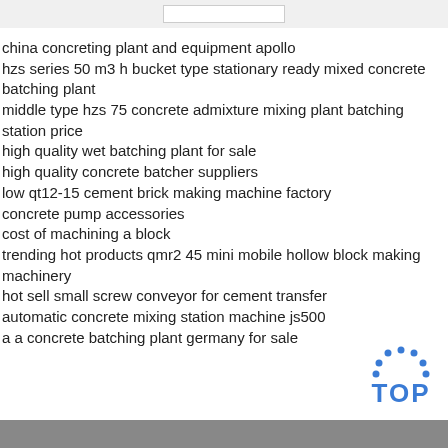china concreting plant and equipment apollo
hzs series 50 m3 h bucket type stationary ready mixed concrete batching plant
middle type hzs 75 concrete admixture mixing plant batching station price
high quality wet batching plant for sale
high quality concrete batcher suppliers
low qt12-15 cement brick making machine factory
concrete pump accessories
cost of machining a block
trending hot products qmr2 45 mini mobile hollow block making machinery
hot sell small screw conveyor for cement transfer
automatic concrete mixing station machine js500
a a concrete batching plant germany for sale
[Figure (logo): TOP logo with blue dotted arc above bold blue text TOP]